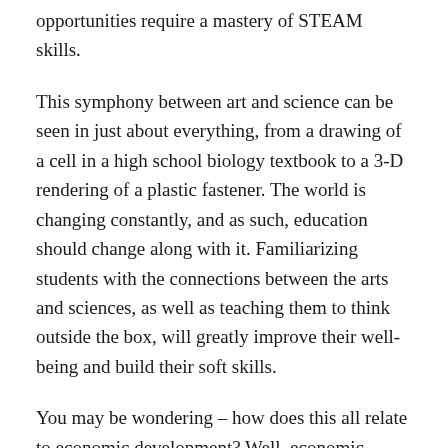opportunities require a mastery of STEAM skills.
This symphony between art and science can be seen in just about everything, from a drawing of a cell in a high school biology textbook to a 3-D rendering of a plastic fastener. The world is changing constantly, and as such, education should change along with it. Familiarizing students with the connections between the arts and sciences, as well as teaching them to think outside the box, will greatly improve their well-being and build their soft skills.
You may be wondering – how does this all relate to economic development? Well, economic development fundamentally depends on a world